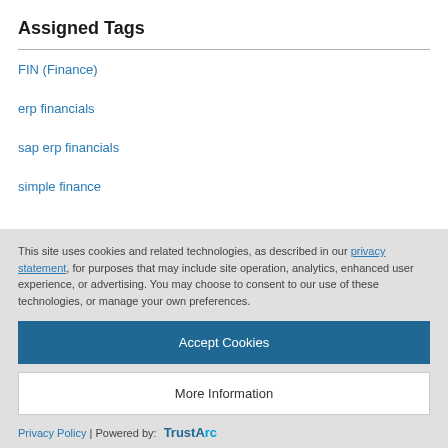Assigned Tags
FIN (Finance)
erp financials
sap erp financials
simple finance
This site uses cookies and related technologies, as described in our privacy statement, for purposes that may include site operation, analytics, enhanced user experience, or advertising. You may choose to consent to our use of these technologies, or manage your own preferences.
Accept Cookies
More Information
Privacy Policy | Powered by: TrustArc